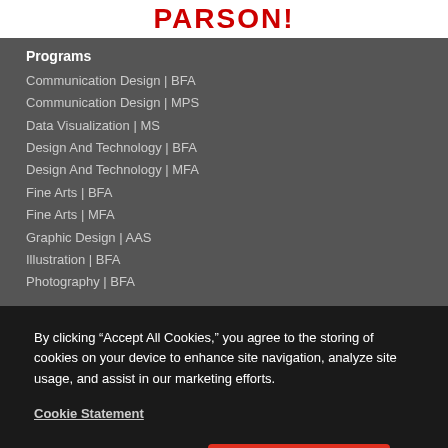PARSON!
Programs
Communication Design | BFA
Communication Design | MPS
Data Visualization | MS
Design And Technology | BFA
Design And Technology | MFA
Fine Arts | BFA
Fine Arts | MFA
Graphic Design | AAS
Illustration | BFA
Photography | BFA
By clicking “Accept All Cookies,” you agree to the storing of cookies on your device to enhance site navigation, analyze site usage, and assist in our marketing efforts.
Cookie Statement
Customize Settings
Accept All Cookies